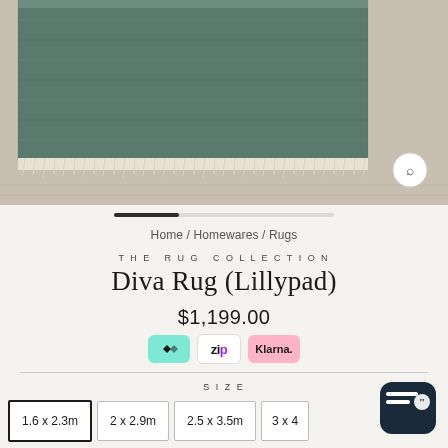[Figure (photo): Close-up photo of a green/teal rug with fringe on a wooden floor]
[Figure (other): Progress/carousel indicator bar with first segment filled dark]
Home / Homewares / Rugs
THE RUG COLLECTION
Diva Rug (Lillypad)
$1,199.00
[Figure (logo): Payment option logos: Afterpay (green), Zip (white/black), Klarna (pink)]
SIZE
1.6 x 2.3m
2 x 2.9m
2.5 x 3.5m
3 x 4...